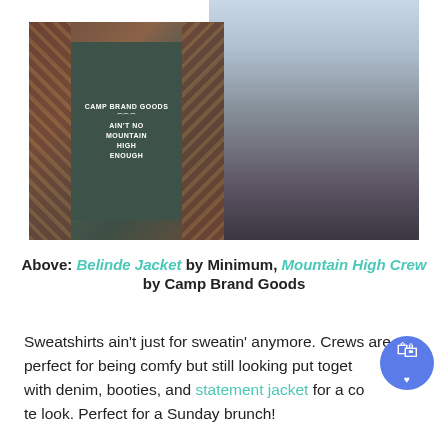[Figure (photo): Two overlapping fashion photos: left photo shows a woman wearing a dark green 'Camp Brand Goods Ain't No Mountain High Enough' sweatshirt with a leopard-print cardigan; right photo shows a full-length shot of a woman in a leopard-print coat on a city street.]
Above: Belinde Jacket by Minimum, Mountain High Crew by Camp Brand Goods
Sweatshirts ain't just for sweatin' anymore. Crews are perfect for being comfy but still looking put together. Pair with denim, booties, and statement jacket for a complete look. Perfect for a Sunday brunch!